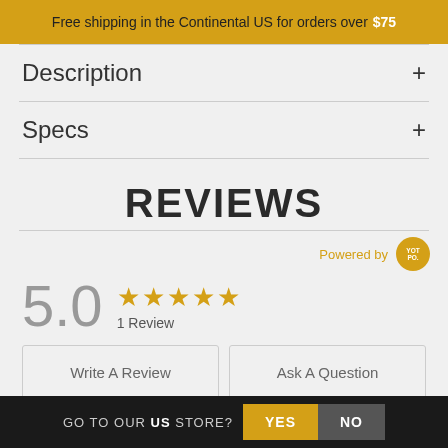Free shipping in the Continental US for orders over $75
Description
Specs
REVIEWS
Powered by [YOTPO badge]
5.0  ★★★★★  1 Review
Write A Review
Ask A Question
GO TO OUR US STORE?  YES  NO